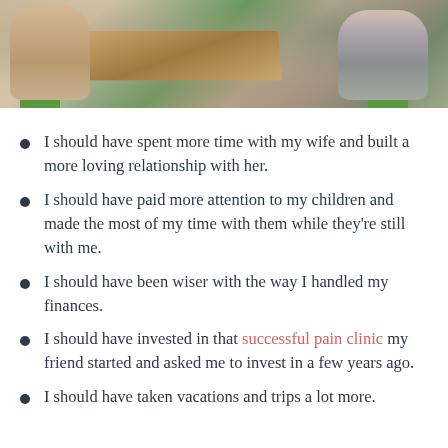[Figure (photo): Photo of two people sitting at a wooden table with green chairs in a cafe or office setting.]
I should have spent more time with my wife and built a more loving relationship with her.
I should have paid more attention to my children and made the most of my time with them while they're still with me.
I should have been wiser with the way I handled my finances.
I should have invested in that successful pain clinic my friend started and asked me to invest in a few years ago.
I should have taken vacations and trips a lot more.